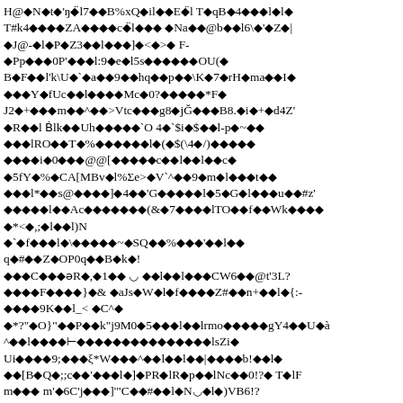H@◆N◆t◆'ŋ◆̈l7◆◆B%xQ◆il◆◆E◆̈l T◆qB◆4◆◆◆l◆l◆
T#k4◆◆◆◆ZA◆◆◆◆c◆̈l◆◆◆ ◆Na◆◆@b◆◆l6\◆'◆Z◆|
◆J@-◆l◆P◆Z3◆◆l◆◆◆]◆<◆>◆ F-
◆Pp◆◆◆0P'◆◆◆l:9◆e◆l5s◆◆◆◆◆◆OU(◆
B◆F◆◆l'k\U◆`◆a◆◆9◆◆hq◆◆p◆◆\K◆7◆rH◆ma◆◆I◆
◆◆◆Y◆fUc◆◆l◆◆◆◆Mc◆0?◆◆◆◆◆*F◆
J2◆+◆◆◆m◆◆^◆◆>Vtc◆◆◆g8◆jĞ◆◆◆B8.◆i◆+◆d4Z'
◆R◆◆l Ḅlk◆◆Uh◆◆◆◆◆`O 4◆`$i◆$◆◆l-p◆~◆◆
◆◆◆lRO◆◆T◆%◆◆◆◆◆◆l◆(◆$(\4◆/)◆◆◆◆◆
◆◆◆◆i◆0◆◆◆@@[◆◆◆◆◆c◆◆l◆◆l◆◆c◆
◆5fY◆%◆CA[MBv◆l%Σe>◆V`^◆◆9◆m◆l◆◆◆t◆◆
◆◆◆l*◆◆s@◆◆◆◆]◆4◆◆'G◆◆◆◆◆l◆5◆G◆l◆◆◆u◆◆#z'
◆◆◆◆◆l◆◆Ac◆◆◆◆◆◆◆(&◆7◆◆◆◆lTO◆◆f◆◆Wk◆◆◆◆
◆*<◆,;◆l◆◆l)N
◆`◆f◆◆◆l◆\◆◆◆◆◆~◆SQ◆◆%◆◆◆'◆◆l◆◆
q◆#◆◆Z◆OP0q◆◆B◆k◆!
◆◆◆C◆◆◆əR◆,◆1◆◆ ◡ ◆◆l◆◆l◆◆◆CW6◆◆@t'3L?
◆◆◆◆F◆◆◆◆}◆& ◆aJs◆W◆l◆f◆◆◆◆Z#◆◆n+◆◆l◆{:-
◆◆◆◆9K◆◆l_< ◆C^◆
◆*?"◆O}"◆◆P◆◆k"j9M0◆5◆◆◆l◆◆lrmo◆◆◆◆◆gY4◆◆U◆à
^◆◆l◆◆◆◆⊢◆◆◆◆◆◆◆◆◆◆◆◆◆◆◆◆lsZi◆
Ui◆◆◆◆9;◆◆◆ξ*W◆◆◆^◆◆l◆◆l◆◆|◆◆◆◆b!◆◆l◆
◆◆[B◆Q◆;;c◆◆'◆◆◆l◆]◆PR◆lR◆p◆◆lNc◆◆0!?◆ T◆lF
m◆◆◆ m'◆6C'j◆◆◆]'"C◆◆#◆◆l◆N◡◆l◆)VB6!?